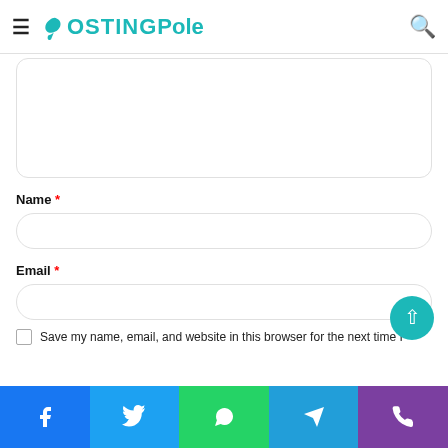PostingPole
Name *
Email *
Website
Save my name, email, and website in this browser for the next time I
Facebook | Twitter | WhatsApp | Telegram | Phone